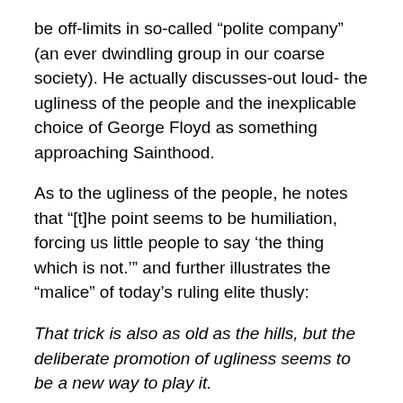be off-limits in so-called “polite company” (an ever dwindling group in our coarse society). He actually discusses-out loud- the ugliness of the people and the inexplicable choice of George Floyd as something approaching Sainthood.
As to the ugliness of the people, he notes that “[t]he point seems to be humiliation, forcing us little people to say ‘the thing which is not.’” and further illustrates the “malice” of today’s ruling elite thusly:
That trick is also as old as the hills, but the deliberate promotion of ugliness seems to be a new way to play it.
Anton’s dissection of the George Floyd phenomenon surely should rank as one of the most honest, forthright, unsparing and truthful discussions of this madness to be